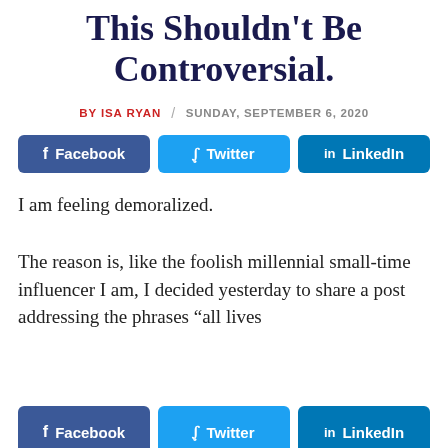This Shouldn't Be Controversial.
BY ISA RYAN / SUNDAY, SEPTEMBER 6, 2020
[Figure (other): Social share buttons: Facebook, Twitter, LinkedIn]
I am feeling demoralized.
The reason is, like the foolish millennial small-time influencer I am, I decided yesterday to share a post addressing the phrases “all lives
[Figure (other): Social share buttons at bottom: Facebook, Twitter, LinkedIn (partially visible)]